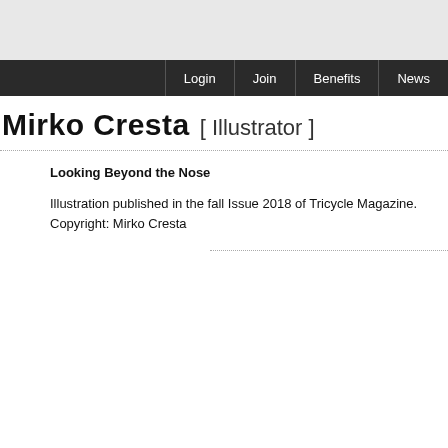Login | Join | Benefits | News
Mirko Cresta [ Illustrator ]
Looking Beyond the Nose
Illustration published in the fall Issue 2018 of Tricycle Magazine. Copyright: Mirko Cresta